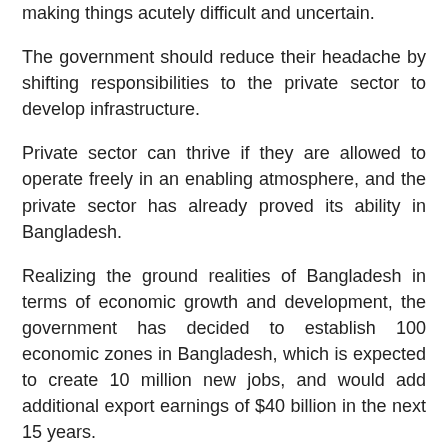making things acutely difficult and uncertain.
The government should reduce their headache by shifting responsibilities to the private sector to develop infrastructure.
Private sector can thrive if they are allowed to operate freely in an enabling atmosphere, and the private sector has already proved its ability in Bangladesh.
Realizing the ground realities of Bangladesh in terms of economic growth and development, the government has decided to establish 100 economic zones in Bangladesh, which is expected to create 10 million new jobs, and would add additional export earnings of $40 billion in the next 15 years.
The government has been encouraging the establishment of private economic zones in Bangladesh.